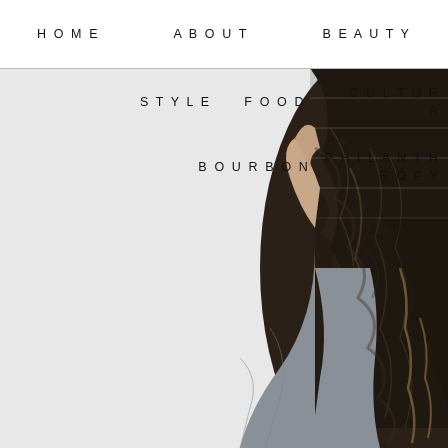HOME   ABOUT   BEAUTY
STYLE   FOOD   CULTURA
BOURBON   PHILANTHROPY
[Figure (photo): Back view of a person with long, wavy dark brown hair with subtle highlights, wearing a gray shirt, photographed from behind against a light background.]